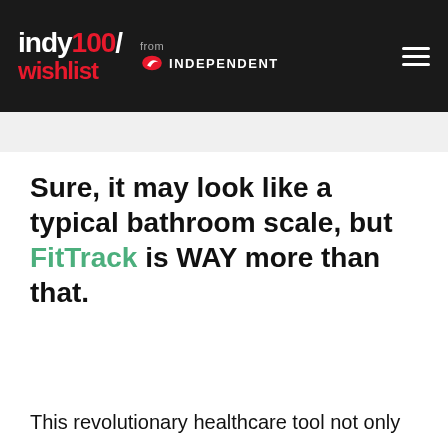indy100/wishlist from INDEPENDENT
Sure, it may look like a typical bathroom scale, but FitTrack is WAY more than that.
This revolutionary healthcare tool not only